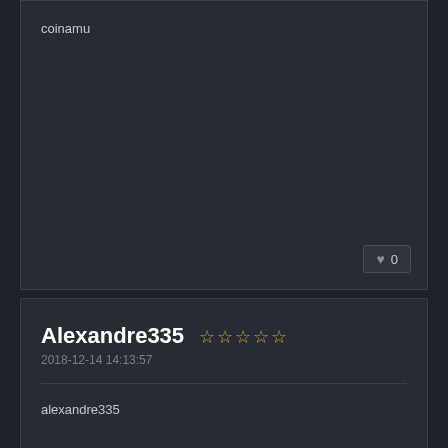coinamu
0
Alexandre335 ☆☆☆☆☆
2018-12-14 14:13:57
alexandre335